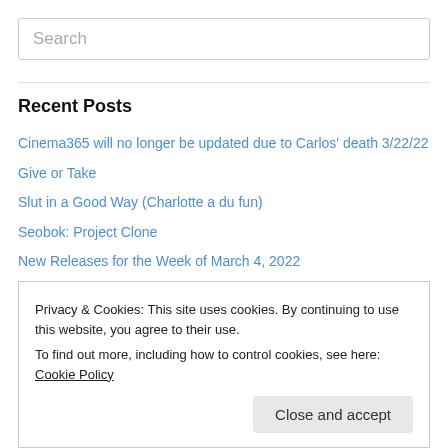Search
Recent Posts
Cinema365 will no longer be updated due to Carlos' death 3/22/22
Give or Take
Slut in a Good Way (Charlotte a du fun)
Seobok: Project Clone
New Releases for the Week of March 4, 2022
Privacy & Cookies: This site uses cookies. By continuing to use this website, you agree to their use.
To find out more, including how to control cookies, see here: Cookie Policy
Close and accept
Gidget Bates's Crap She Spews